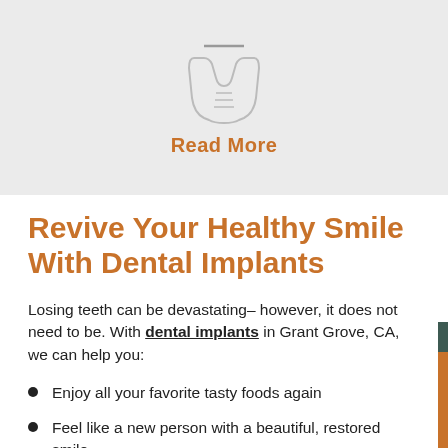[Figure (illustration): Gray banner with a tooth/dental implant icon and 'Read More' label in orange]
Revive Your Healthy Smile With Dental Implants
Losing teeth can be devastating– however, it does not need to be. With dental implants in Grant Grove, CA, we can help you:
Enjoy all your favorite tasty foods again
Feel like a new person with a beautiful, restored smile
Have assurance that your strong new teeth will stay put